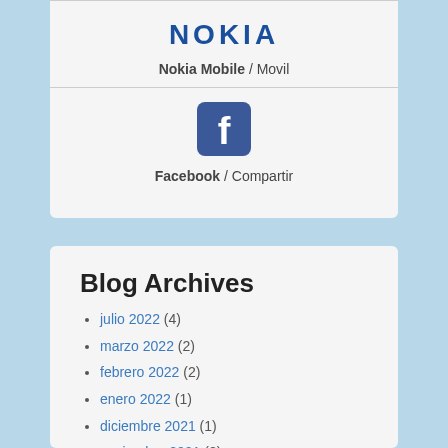[Figure (logo): Nokia logo in dark blue bold uppercase letters]
Nokia Mobile / Movil
[Figure (logo): Facebook logo icon — white 'f' on blue rounded square background]
Facebook / Compartir
Blog Archives
julio 2022 (4)
marzo 2022 (2)
febrero 2022 (2)
enero 2022 (1)
diciembre 2021 (1)
noviembre 2021 (2)